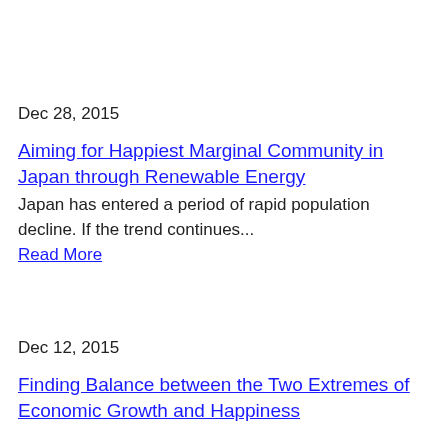Dec 28, 2015
Aiming for Happiest Marginal Community in Japan through Renewable Energy
Japan has entered a period of rapid population decline. If the trend continues...
Read More
Dec 12, 2015
Finding Balance between the Two Extremes of Economic Growth and Happiness